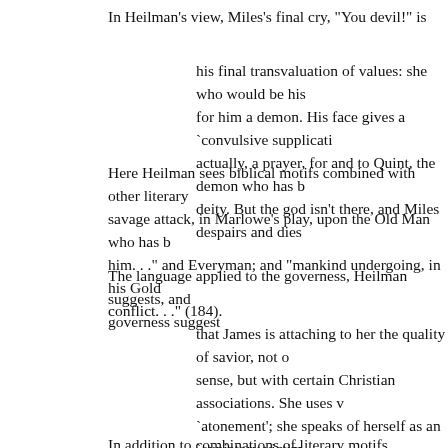In Heilman's view, Miles's final cry, "You devil!" is
his final transvaluation of values: she who would be his for him a demon. His face gives a `convulsive supplicati actually, a prayer, for and to Quint, the demon who has b deity. But the god isn't there, and Miles despairs and dies
Here Heilman sees biblical motifs combined with other literary savage attack, in Marlowe's play, upon the Old Man who has b him. . ." and Everyman; and "mankind undergoing, in his Gold conflict. . ." (184).
The language applied to the governess, Heilman suggests, and governess suggest
that James is attaching to her the quality of savior, not o sense, but with certain Christian associations. She uses v `atonement'; she speaks of herself as an `expiatory victim suffering,' and at various times--twice in the final scene- Very early she plans to `shelter my pupils,' to `absolutely speaks variously of her `service,' to `protect and defend t creatures . . . bereaved . . . loveable' (184).
In addition to combinations of literary motifs, Heilman perceiv threads in the story. The last scene is suggestive, he says of the